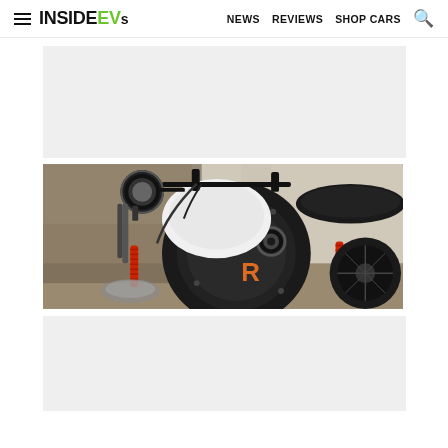InsideEVs — NEWS  REVIEWS  SHOP CARS
[Figure (other): Advertisement placeholder block (light gray rectangle)]
[Figure (photo): Close-up photo of an electric motorcycle with a large black circular hub motor, white fender, black handlebars, round headlight, red rear shock absorber, and an orange 'R' logo on the motor cover.]
[Figure (other): Advertisement placeholder block (light gray rectangle)]